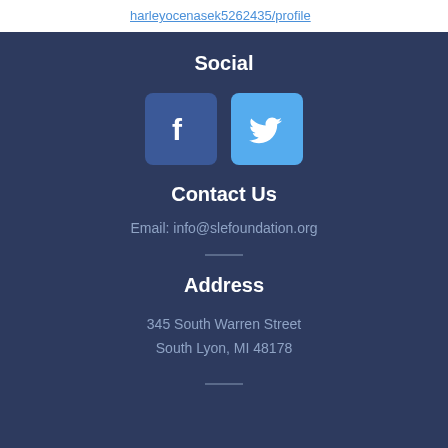harleyocenasek5262435/profile
Social
[Figure (illustration): Facebook and Twitter social media icons]
Contact Us
Email: info@slefoundation.org
Address
345 South Warren Street
South Lyon, MI 48178